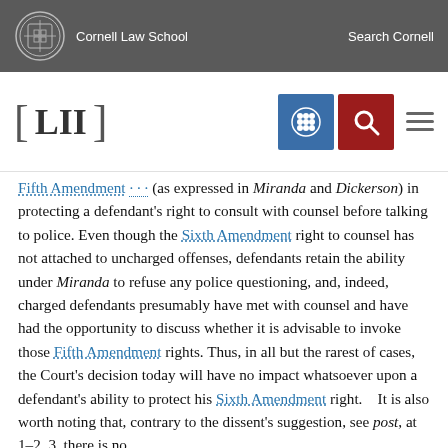Cornell Law School | Search Cornell
[Figure (logo): LII Legal Information Institute navigation header with blue grid icon, red search icon, and hamburger menu]
[link] (as expressed in Miranda and Dickerson) in protecting a defendant's right to consult with counsel before talking to police. Even though the Sixth Amendment right to counsel has not attached to uncharged offenses, defendants retain the ability under Miranda to refuse any police questioning, and, indeed, charged defendants presumably have met with counsel and have had the opportunity to discuss whether it is advisable to invoke those Fifth Amendment rights. Thus, in all but the rarest of cases, the Court's decision today will have no impact whatsoever upon a defendant's ability to protect his Sixth Amendment right.    It is also worth noting that, contrary to the dissent's suggestion, see post, at 1–2, 3, there is no